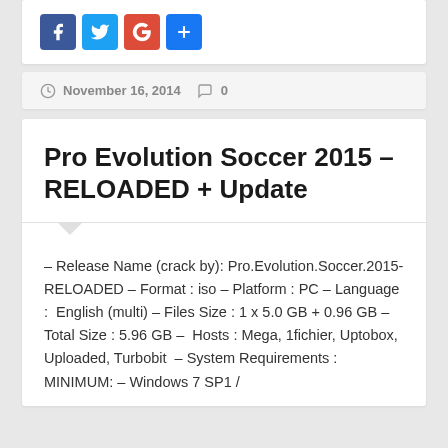[Figure (other): Social media share buttons: Facebook, Twitter, Google+, and another share button]
November 16, 2014   0
Pro Evolution Soccer 2015 – RELOADED + Update
– Release Name (crack by): Pro.Evolution.Soccer.2015-RELOADED – Format : iso – Platform : PC – Language : English (multi) – Files Size : 1 x 5.0 GB + 0.96 GB – Total Size : 5.96 GB – Hosts : Mega, 1fichier, Uptobox, Uploaded, Turbobit – System Requirements : MINIMUM: – Windows 7 SP1 /